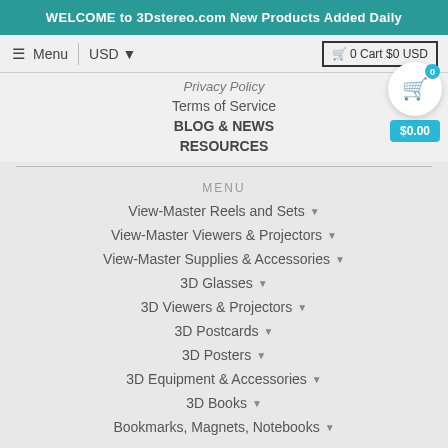WELCOME to 3Dstereo.com New Products Added Daily
≡ Menu | USD ▾ | 🛒 0 Cart $0 USD
Privacy Policy
Terms of Service
BLOG & NEWS
RESOURCES
MENU
View-Master Reels and Sets
View-Master Viewers & Projectors
View-Master Supplies & Accessories
3D Glasses
3D Viewers & Projectors
3D Postcards
3D Posters
3D Equipment & Accessories
3D Books
Bookmarks, Magnets, Notebooks